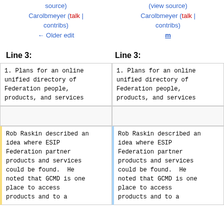source) | Carolbmeyer (talk | contribs) | ← Older edit
(view source) | Carolbmeyer (talk | contribs) | m
Line 3:
Line 3:
1. Plans for an online unified directory of Federation people, products, and services
1. Plans for an online unified directory of Federation people, products, and services
Rob Raskin described an idea where ESIP Federation partner products and services could be found.  He noted that GCMD is one place to access products and to a
Rob Raskin described an idea where ESIP Federation partner products and services could be found.  He noted that GCMD is one place to access products and to a